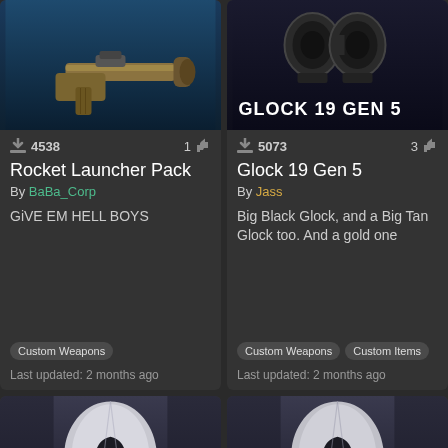[Figure (screenshot): Rocket launcher weapon image on blue background]
4538 downloads, 1 like
Rocket Launcher Pack
By BaBa_Corp
GiVE EM HELL BOYS
Custom Weapons
Last updated: 2 months ago
[Figure (screenshot): Glock 19 Gen 5 firearm image on dark background with text overlay GLOCK 19 GEN 5]
5073 downloads, 3 likes
Glock 19 Gen 5
By Jass
Big Black Glock, and a Big Tan Glock too. And a gold one
Custom Weapons, Custom Items
Last updated: 2 months ago
[Figure (screenshot): Hooded figure with glowing blue eyes on dark background]
[Figure (screenshot): Hooded figure with glowing blue eyes on dark background (second card)]